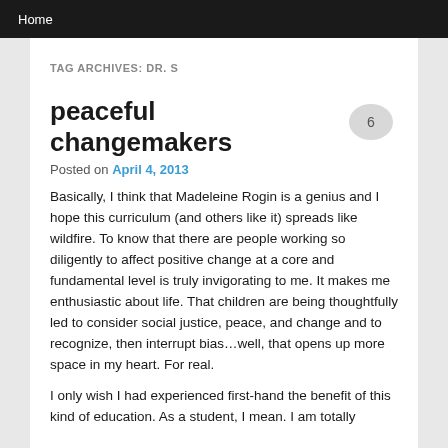Home
TAG ARCHIVES: DR. S
peaceful changemakers
Posted on April 4, 2013
Basically, I think that Madeleine Rogin is a genius and I hope this curriculum (and others like it) spreads like wildfire.  To know that there are people working so diligently to affect positive change at a core and fundamental level is truly invigorating to me.  It makes me enthusiastic about life. That children are being thoughtfully led to consider social justice, peace, and change and to recognize, then interrupt bias…well, that opens up more space in my heart.  For real.
I only wish I had experienced first-hand the benefit of this kind of education.  As a student, I mean.  I am totally